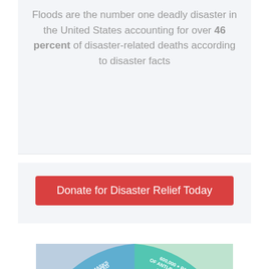Floods are the number one deadly disaster in the United States accounting for over 46 percent of disaster-related deaths according to disaster facts
Donate for Disaster Relief Today
[Figure (infographic): Partial donut/pie chart infographic showing disaster relief statistics: '50,000+ MASKS WERE DISTRIBUTED TO HOSPITALS' and '600,000+ PACKS OF ANTI-BACTERIAL WIPES SENT TO HOSPITALS, SHELTERS, ETC.' with photos of volunteers in the background segments.]